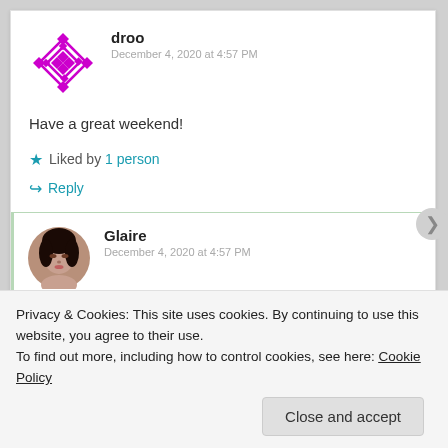[Figure (illustration): Magenta geometric diamond/snowflake avatar icon for user droo]
droo
December 4, 2020 at 4:57 PM
Have a great weekend!
★ Liked by 1 person
↪ Reply
[Figure (photo): Photo of commenter Glaire - young woman with dark hair]
Glaire
December 4, 2020 at 4:57 PM
Privacy & Cookies: This site uses cookies. By continuing to use this website, you agree to their use.
To find out more, including how to control cookies, see here: Cookie Policy